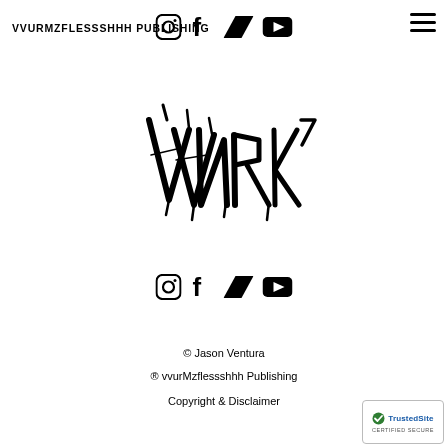VVURMZFLESSSHHH PUBLISHING
[Figure (logo): Social media icons: Instagram, Facebook, Bandcamp, YouTube in header]
[Figure (logo): Hamburger menu icon top right]
[Figure (logo): Vvurmzflessshhh Publishing logo — stylized graffiti/metal-style hand-lettered text in black]
[Figure (logo): Social media icons: Instagram, Facebook, Bandcamp, YouTube in footer]
© Jason Ventura
® vvurMzflessshhh Publishing
Copyright & Disclaimer
[Figure (logo): TrustedSite CERTIFIED SECURE badge]